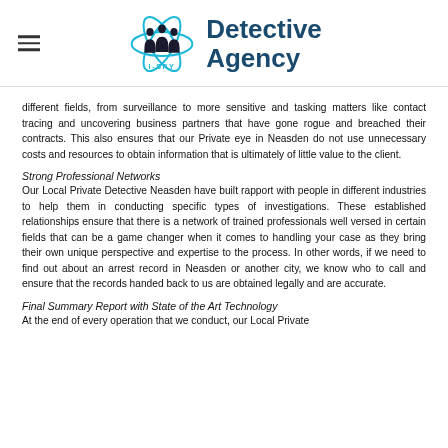I-SPY Detective Agency
different fields, from surveillance to more sensitive and tasking matters like contact tracing and uncovering business partners that have gone rogue and breached their contracts. This also ensures that our Private eye in Neasden do not use unnecessary costs and resources to obtain information that is ultimately of little value to the client.
Strong Professional Networks
Our Local Private Detective Neasden have built rapport with people in different industries to help them in conducting specific types of investigations. These established relationships ensure that there is a network of trained professionals well versed in certain fields that can be a game changer when it comes to handling your case as they bring their own unique perspective and expertise to the process. In other words, if we need to find out about an arrest record in Neasden or another city, we know who to call and ensure that the records handed back to us are obtained legally and are accurate.
Final Summary Report with State of the Art Technology
At the end of every operation that we conduct, our Local Private